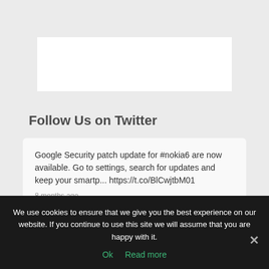[Figure (other): White rectangular advertisement/banner placeholder box]
Follow Us on Twitter
Google Security patch update for #nokia6 are now available. Go to settings, search for updates and keep your smartp... https://t.co/BlCwjtbM01
8 months ago
We use cookies to ensure that we give you the best experience on our website. If you continue to use this site we will assume that you are happy with it.
Ok  Read more